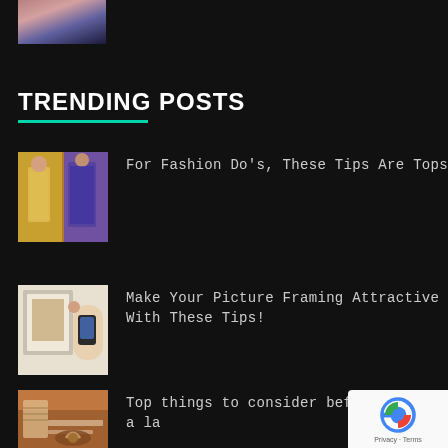[Figure (photo): Partial top image of a person, cropped at the top of the page]
TRENDING POSTS
[Figure (photo): Fashion post thumbnail showing models on a runway with colorful outfits]
For Fashion Do's, These Tips Are Tops
[Figure (photo): Picture framing post thumbnail showing a person holding a phone near a picture frame]
Make Your Picture Framing Attractive With These Tips!
[Figure (photo): Legal post thumbnail showing a gavel and person at desk]
Top things to consider before hiring a la